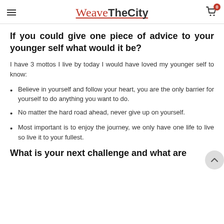WeaveTheCity
If you could give one piece of advice to your younger self what would it be?
I have 3 mottos I live by today I would have loved my younger self to know:
Believe in yourself and follow your heart, you are the only barrier for yourself to do anything you want to do.
No matter the hard road ahead, never give up on yourself.
Most important is to enjoy the journey, we only have one life to live so live it to your fullest.
What is your next challenge and what are